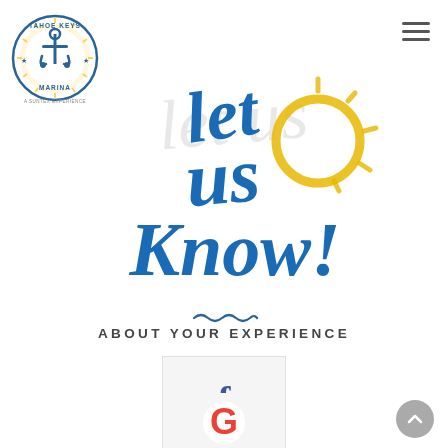[Figure (logo): Tahoe Keys Marina logo - circular emblem with anchor, sun rays, and text 'TAHOE KEYS MARINA - A SUNTEX EXPERIENCE']
[Figure (illustration): Decorative hand-lettered text reading 'let us Know!' in blue script with gold sun graphic, on white background]
[Figure (infographic): Wavy blue divider line]
ABOUT YOUR EXPERIENCE
[Figure (illustration): Facebook review card with blue Facebook 'f' logo on light gray background]
[Figure (illustration): Google review card with red/blue/yellow/green Google 'G' logo on light gray background]